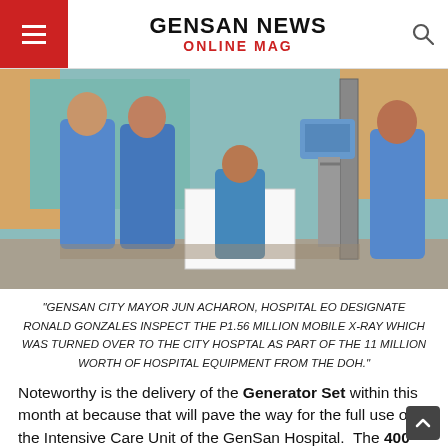GENSAN NEWS ONLINE MAG
[Figure (photo): People in blue polo shirts inspecting a white mobile X-ray machine in a hospital room with orange curtains in the background.]
"GENSAN CITY MAYOR JUN ACHARON, HOSPITAL EO DESIGNATE RONALD GONZALES INSPECT THE P1.56 MILLION MOBILE X-RAY WHICH WAS TURNED OVER TO THE CITY HOSPTAL AS PART OF THE 11 MILLION WORTH OF HOSPITAL EQUIPMENT FROM THE DOH."
Noteworthy is the delivery of the Generator Set within this month at because that will pave the way for the full use of the Intensive Care Unit of the GenSan Hospital.  The 400 KVA gens...